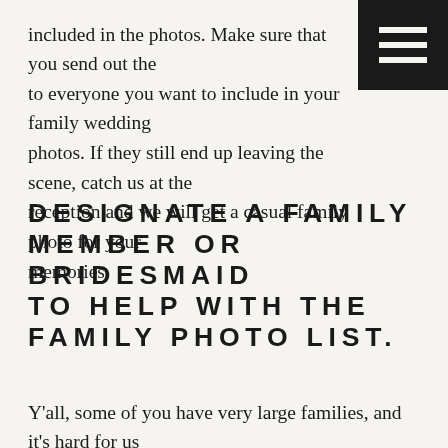included in the photos. Make sure that you send out the to everyone you want to include in your family wedding photos. If they still end up leaving the scene, catch us at the reception and we will get a casual family photo for your memories.
DESIGNATE A FAMILY MEMBER OR BRIDESMAID TO HELP WITH THE FAMILY PHOTO LIST.
Y'all, some of you have very large families, and it's hard for us to keep up with who is who. Yes, even if we have a list. We always appreciate any help in locating, directing, and guiding family groups up to the altar or ceremony site. Having a designated family member or bridesmaid to help with the wedding family photos list is so appreciated!